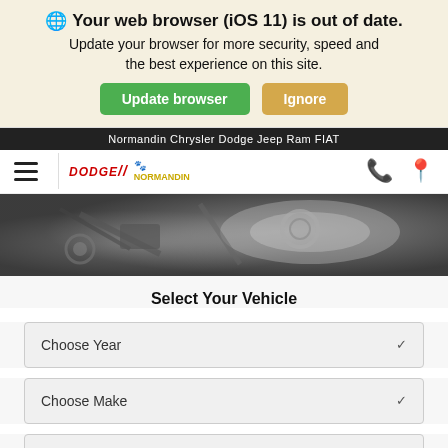🌐 Your web browser (iOS 11) is out of date. Update your browser for more security, speed and the best experience on this site.
Update browser | Ignore
Normandin Chrysler Dodge Jeep Ram FIAT
[Figure (logo): Navigation bar with hamburger menu, Dodge and Normandin dealer logos, phone and location icons]
[Figure (photo): Grayscale close-up photo of car engine/mechanical parts]
Select Your Vehicle
Choose Year
Choose Make
Choose Model